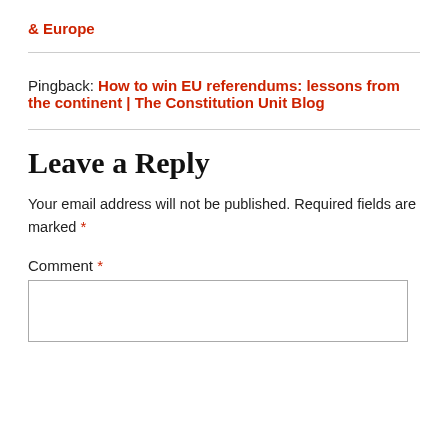& Europe
Pingback: How to win EU referendums: lessons from the continent | The Constitution Unit Blog
Leave a Reply
Your email address will not be published. Required fields are marked *
Comment *